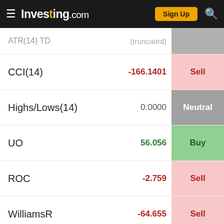Investing.com — Sign Up
| Indicator | Value | Signal |
| --- | --- | --- |
| ATR(14) TD (truncated) | (truncated) | (truncated) |
| CCI(14) | -166.1401 | Sell |
| Highs/Lows(14) | 0.0000 | Neutral |
| UO | 56.056 | Buy |
| ROC | -2.759 | Sell |
| WilliamsR | -64.655 | Sell |